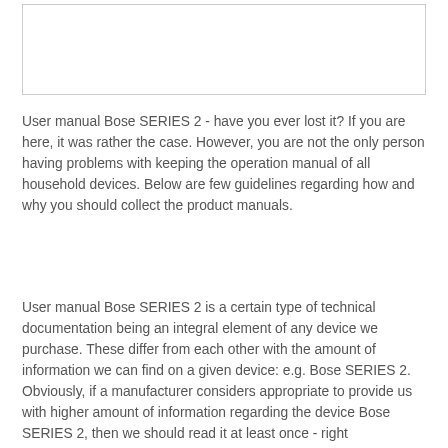[Figure (other): Empty bordered rectangle, likely placeholder for an image]
User manual Bose SERIES 2 - have you ever lost it? If you are here, it was rather the case. However, you are not the only person having problems with keeping the operation manual of all household devices. Below are few guidelines regarding how and why you should collect the product manuals.
User manual Bose SERIES 2 is a certain type of technical documentation being an integral element of any device we purchase. These differ from each other with the amount of information we can find on a given device: e.g. Bose SERIES 2. Obviously, if a manufacturer considers appropriate to provide us with higher amount of information regarding the device Bose SERIES 2, then we should read it at least once - right